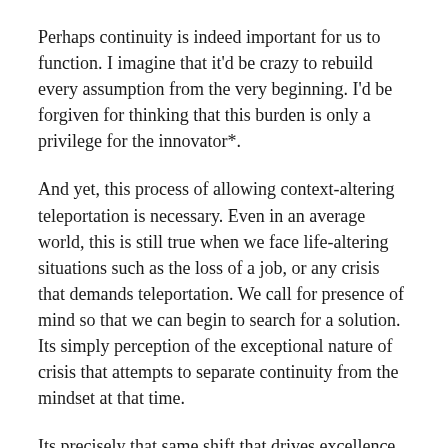Perhaps continuity is indeed important for us to function. I imagine that it'd be crazy to rebuild every assumption from the very beginning. I'd be forgiven for thinking that this burden is only a privilege for the innovator*.
And yet, this process of allowing context-altering teleportation is necessary. Even in an average world, this is still true when we face life-altering situations such as the loss of a job, or any crisis that demands teleportation. We call for presence of mind so that we can begin to search for a solution. Its simply perception of the exceptional nature of crisis that attempts to separate continuity from the mindset at that time.
Its precisely that same shift that drives excellence.